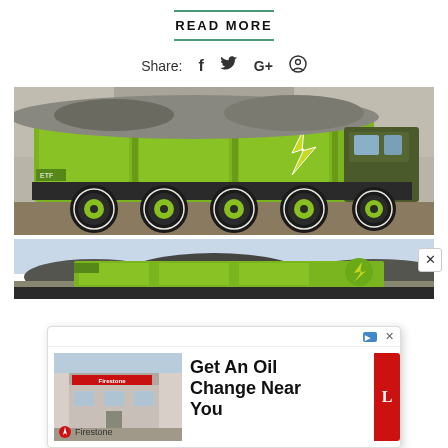READ MORE
Share: f  ♦  G+  ⊕
[Figure (photo): Large green electric mining dump truck (ETF brand) loaded with rocks/gravel, photographed from the side against a rocky quarry background. The truck has multiple large axles with green-rimmed tires and a lightning bolt logo on the side.]
[Figure (photo): Partial view of the same or similar green electric dump truck from a distance, showing the truck against a light blue sky with piles of gravel/coal in the background.]
[Figure (other): Advertisement overlay: Firestone auto care ad with image of a Firestone store, headline 'Get An Oil Change Near You', red sidebar element, and Firestone logo at bottom left.]